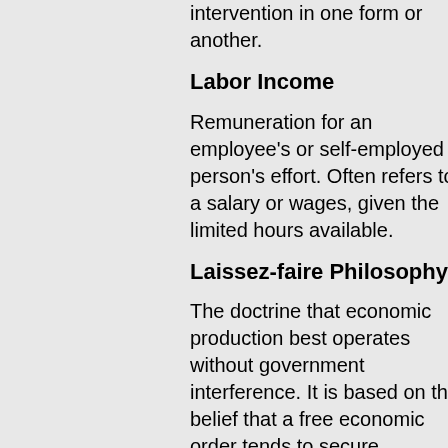intervention in one form or another.
Labor Income
Remuneration for an employee's or self-employed person's effort. Often refers to a salary or wages, given the limited hours available.
Laissez-faire Philosophy
The doctrine that economic production best operates without government interference. It is based on the belief that a free economic order tends to secure maximum welfare for each man and therefore for the country as a whole.
Legal Tender
Any kind of money which by law must be accepted in payment of a debt. Legal tender laws make a type of money not easily rejected. They are designed to tell creditors which money they must use, rather than to allow the citizen a free choice over what to exchange in a contract. Governments gave paper money legal tender and denied the status to gold and silver, forcing people to use fiat money, which could be created at will.
Legal Tender Act of 1933
An act of Congress that decreed that Federal Reserve notes may be legally offered to pay a debt and must be accepted by a creditor.
Legal Tender laws